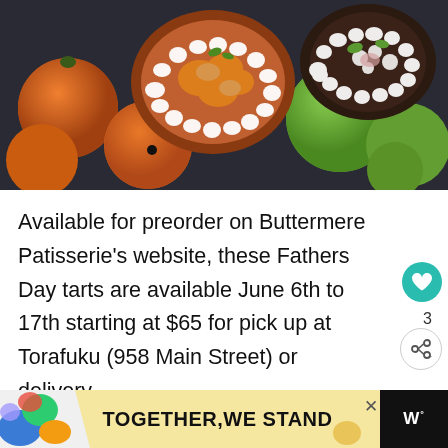[Figure (photo): Overhead dark background photo of two fruit tarts topped with whipped cream and fresh fruit (persimmons/peaches on one, cream and greens on the other), surrounded by whole persimmons and green guava fruits]
Available for preorder on Buttermere Patisserie's website, these Fathers Day tarts are available June 6th to 17th starting at $65 for pick up at Torafuku (958 Main Street) or delivery.
[Figure (infographic): Advertisement banner reading TOGETHER,WE STAND with colorful abstract shapes on the left, a close X button, and a W° logo on the right, on a dark background]